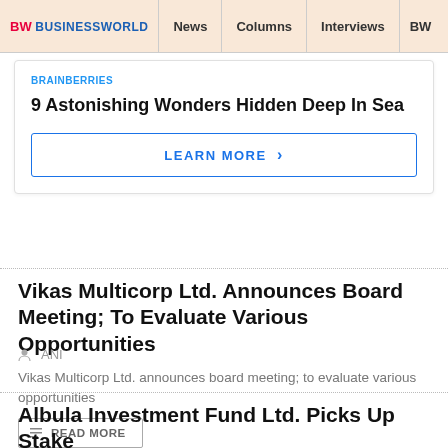BW BUSINESSWORLD | News | Columns | Interviews | BW
[Figure (other): Brainberries ad card: '9 Astonishing Wonders Hidden Deep In Sea' with LEARN MORE button]
Vikas Multicorp Ltd. Announces Board Meeting; To Evaluate Various Opportunities
ANI
Vikas Multicorp Ltd. announces board meeting; to evaluate various opportunities
READ MORE
Albula Investment Fund Ltd. Picks Up Stake